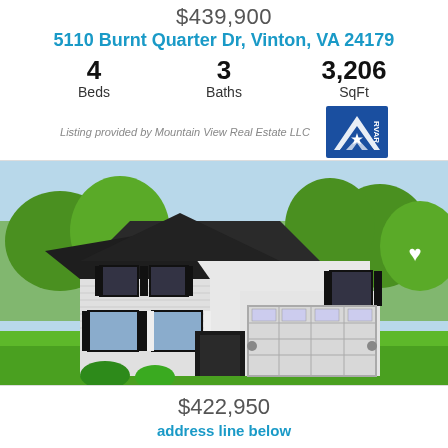$439,900
5110 Burnt Quarter Dr, Vinton, VA 24179
4 Beds   3 Baths   3,206 SqFt
Listing provided by Mountain View Real Estate LLC
[Figure (photo): Two-story white craftsman-style house with black shutters, double garage, green lawn, and trees in background]
$422,950
address line below (partial)